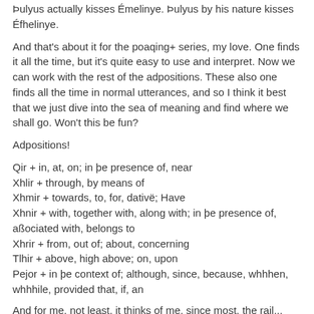Þulyus actually kisses Émelinye. Þulyus by his nature kisses Éfhelinye.
And that's about it for the poaqing+ series, my love. One finds it all the time, but it's quite easy to use and interpret. Now we can work with the rest of the adpositions. These also one finds all the time in normal utterances, and so I think it best that we just dive into the sea of meaning and find where we shall go. Won't this be fun?
Adpositions!
Qir + in, at, on; in þe presence of, near
Xhlir + through, by means of
Xhmir + towards, to, for, dativë; Have
Xhnir + with, together with, along with; in þe presence of, aßociated with, belongs to
Xhrir + from, out of; about, concerning
Tlhir + above, high above; on, upon
Pejor + in þe context of; although, since, because, whhhen, whhhile, provided that, if, an
And for me, not least, it thinks of me, since most, the rail...